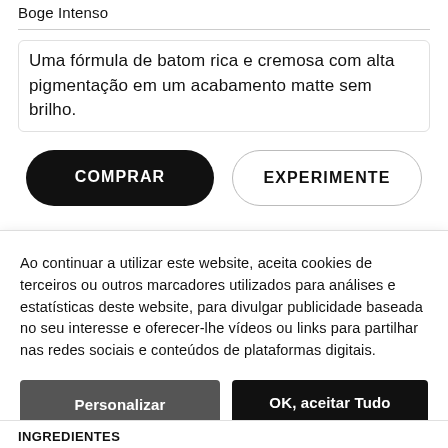Boge Intenso
Uma fórmula de batom rica e cremosa com alta pigmentação em um acabamento matte sem brilho.
COMPRAR
EXPERIMENTE
Ao continuar a utilizar este website, aceita cookies de terceiros ou outros marcadores utilizados para análises e estatísticas deste website, para divulgar publicidade baseada no seu interesse e oferecer-lhe vídeos ou links para partilhar nas redes sociais e conteúdos de plataformas digitais.
Personalizar
OK, aceitar Tudo
INGREDIENTES